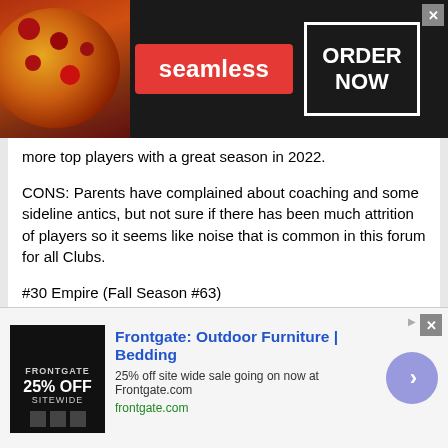[Figure (screenshot): Seamless food delivery advertisement banner with pizza image on left, red Seamless logo in center, and ORDER NOW button on right with close X button]
more top players with a great season in 2022.
CONS: Parents have complained about coaching and some sideline antics, but not sure if there has been much attrition of players so it seems like noise that is common in this forum for all Clubs.
#30 Empire (Fall Season #63)
You have to LOVE the enthusiasm out of the Empire posts. Pure positivity from someone passionately believing in their Team. Likely will not compete with any of the Teams above, but for many does it even matter if their daughters are having a blast playing the game with friends. It sounds like a nice place for a lot of players on the Island. And the joy they will have if they were able to
[Figure (screenshot): Frontgate Outdoor Furniture and Bedding advertisement banner with 25% off sitewide sale, frontgate.com URL, and blue arrow button]